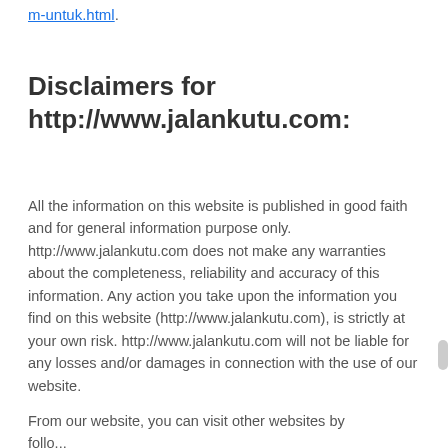m-untuk.html.
Disclaimers for http://www.jalankutu.com:
All the information on this website is published in good faith and for general information purpose only. http://www.jalankutu.com does not make any warranties about the completeness, reliability and accuracy of this information. Any action you take upon the information you find on this website (http://www.jalankutu.com), is strictly at your own risk. http://www.jalankutu.com will not be liable for any losses and/or damages in connection with the use of our website.
From our website, you can visit other websites by following links to those external sites. Whil…